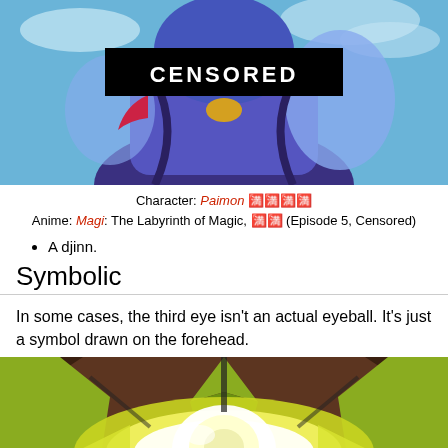[Figure (photo): Anime screenshot of a blue djinn character with a black CENSORED bar across the torso area, against a blue sky background]
Character: Paimon 🈵🈵🈵🈵
Anime: Magi: The Labyrinth of Magic, 🈵🈵 (Episode 5, Censored)
A djinn.
Symbolic
In some cases, the third eye isn't an actual eyeball. It's just a symbol drawn on the forehead.
[Figure (photo): Anime screenshot showing a close-up of a glowing yellow eye symbol on a forehead, with green and dark brown surroundings]